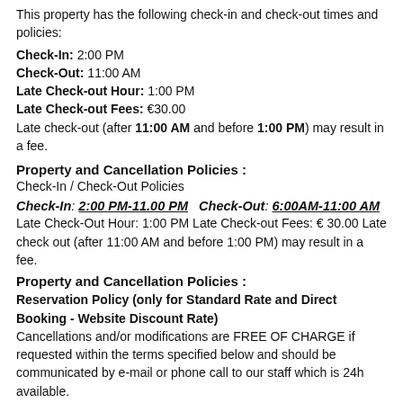This property has the following check-in and check-out times and policies:
Check-In: 2:00 PM
Check-Out: 11:00 AM
Late Check-out Hour: 1:00 PM
Late Check-out Fees: €30.00
Late check-out (after 11:00 AM and before 1:00 PM) may result in a fee.
Property and Cancellation Policies :
Check-In / Check-Out Policies
Check-In: 2:00 PM-11.00 PM   Check-Out: 6:00AM-11:00 AM
Late Check-Out Hour: 1:00 PM Late Check-out Fees: € 30.00 Late check out (after 11:00 AM and before 1:00 PM) may result in a fee.
Property and Cancellation Policies :
Reservation Policy (only for Standard Rate and Direct Booking - Website Discount Rate)
Cancellations and/or modifications are FREE OF CHARGE if requested within the terms specified below and should be communicated by e-mail or phone call to our staff which is 24h available.
Cancellations/modifications are accepted within 72 hours prior 12 am of the arrival date.
For no/show or late cancellation the full amount of the reservation will be charged as penalty fee.
For any further information our policy details will be sent to you on the